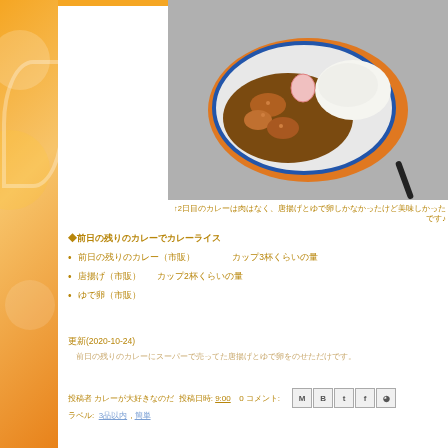[Figure (photo): Top-down photo of a Japanese curry rice dish on a white plate with blue rim, placed on an orange tray. The curry is brown with fried chicken pieces, a pink pickled egg, and white rice. A spoon is visible at the bottom right.]
↑2日目のカレーは肉はなく、唐揚げとゆで卵しかなかったけど美味しかったです♪
◆前日の残りのカレーでカレーライス
前日の残りのカレー（市販）　　　　　カップ3杯くらいの量
唐揚げ（市販）　　カップ2杯くらいの量
ゆで卵（市販）
更新(2020-10-24)
前日の残りのカレーにスーパーで売ってた唐揚げとゆで卵をのせただけです。
投稿者 カレーが大好きなのだ 投稿日時: 9:00　　0 コメント:
ラベル:  3品以内, 簡単